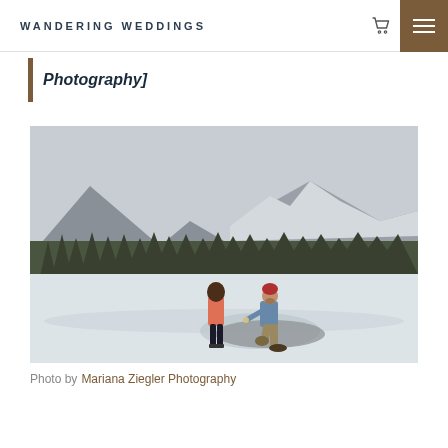WANDERING WEDDINGS
Photography]
[Figure (photo): A man kneeling on one knee proposing to a woman standing on a snow-covered field. Tall pine trees and a snow-dusted mountain in the background under overcast skies. The woman wears a coral/pink jacket and black pants; the man wears a blue shirt and khaki pants with a red beanie.]
Photo by Mariana Ziegler Photography